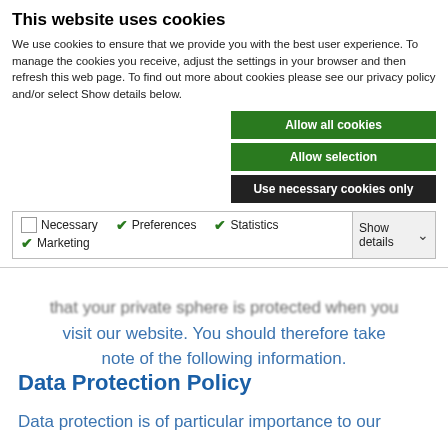This website uses cookies
We use cookies to ensure that we provide you with the best user experience.  To manage the cookies you receive, adjust the settings in your browser and then refresh this web page.  To find out more about cookies please see our privacy policy and/or select Show details below.
[Figure (screenshot): Cookie consent buttons: 'Allow all cookies' (green), 'Allow selection' (green), 'Use necessary cookies only' (dark/black)]
[Figure (screenshot): Cookie category checkboxes: Necessary (unchecked), Preferences (checked green), Statistics (checked green), Marketing (checked green), with 'Show details' dropdown on right]
that your private sphere is protected when you visit our website. You should therefore take note of the following information.
Data Protection Policy
Data protection is of particular importance to our